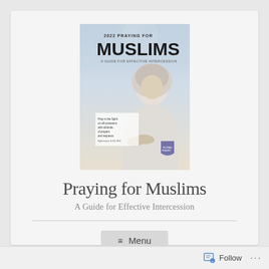[Figure (illustration): Book cover of '2022 Praying for Muslims: A Guide for Effective Intercession' showing a woman in white hijab praying with hands cupped, with text overlay and a shield badge logo]
Praying for Muslims
A Guide for Effective Intercession
≡ Menu
Follow ...